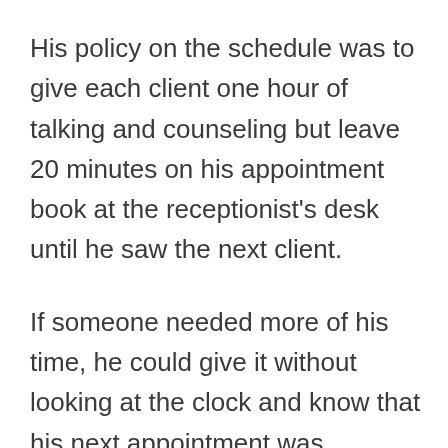His policy on the schedule was to give each client one hour of talking and counseling but leave 20 minutes on his appointment book at the receptionist's desk until he saw the next client.
If someone needed more of his time, he could give it without looking at the clock and know that his next appointment was predictably in the waiting room or the kitchen.
If their session only took an hour, the twenty minutes gave his staff time to help that one person